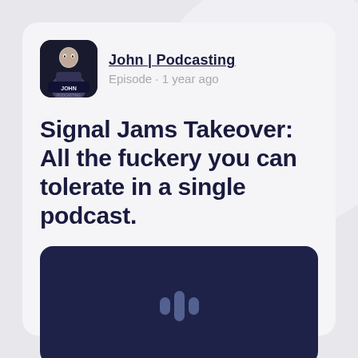[Figure (illustration): Profile avatar image showing a bald man in dark clothing with text JOHN PODCASTING on a dark background, rounded square shape]
John | Podcasting
Episode · 1 year ago
Signal Jams Takeover: All the fuckery you can tolerate in a single podcast.
[Figure (illustration): Dark navy audio player card with a podcast/waveform icon in the center showing three vertical bars of varying heights]